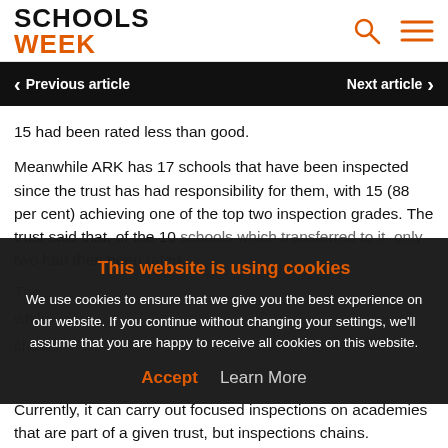Schools Week
Previous article  Next article
15 had been rated less than good.
Meanwhile ARK has 17 schools that have been inspected since the trust has had responsibility for them, with 15 (88 per cent) achieving one of the top two inspection grades. The trust said that, of the 10 schools which transferred to it, only two had then been rated...
This website is using cookies
We use cookies to ensure that we give you the best experience on our website. If you continue without changing your settings, we'll assume that you are happy to receive all cookies on this website.
Accept  Learn More
Currently, it can carry out focused inspections on academies that are part of a given trust, but inspections chains.